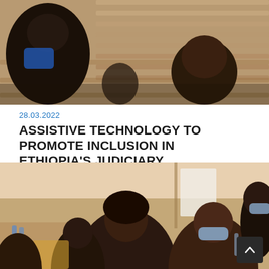[Figure (photo): People sitting in wooden stadium-style seating/bleachers, viewed from above. Dark figures on wooden bench seats.]
28.03.2022
ASSISTIVE TECHNOLOGY TO PROMOTE INCLUSION IN ETHIOPIA'S JUDICIARY
USAID Feteh provides laptops with text-to-speech software and braille display
Ethiopia
[Figure (photo): Group of people seated at a conference or training event. Several women in the foreground, some wearing face masks. Indoor setting with chairs and tables.]